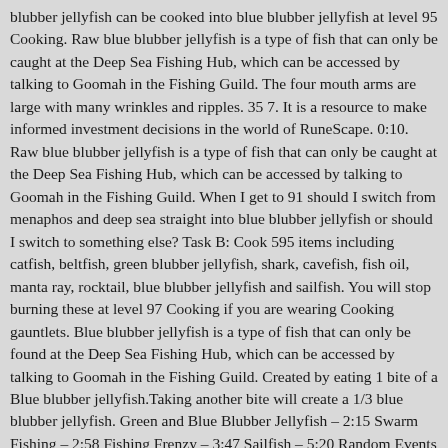blubber jellyfish can be cooked into blue blubber jellyfish at level 95 Cooking. Raw blue blubber jellyfish is a type of fish that can only be caught at the Deep Sea Fishing Hub, which can be accessed by talking to Goomah in the Fishing Guild. The four mouth arms are large with many wrinkles and ripples. 35 7. It is a resource to make informed investment decisions in the world of RuneScape. 0:10. Raw blue blubber jellyfish is a type of fish that can only be caught at the Deep Sea Fishing Hub, which can be accessed by talking to Goomah in the Fishing Guild. When I get to 91 should I switch from menaphos and deep sea straight into blue blubber jellyfish or should I switch to something else? Task B: Cook 595 items including catfish, beltfish, green blubber jellyfish, shark, cavefish, fish oil, manta ray, rocktail, blue blubber jellyfish and sailfish. You will stop burning these at level 97 Cooking if you are wearing Cooking gauntlets. Blue blubber jellyfish is a type of fish that can only be found at the Deep Sea Fishing Hub, which can be accessed by talking to Goomah in the Fishing Guild. Created by eating 1 bite of a Blue blubber jellyfish.Taking another bite will create a 1/3 blue blubber jellyfish. Green and Blue Blubber Jellyfish – 2:15 Swarm Fishing – 2:58 Fishing Frenzy – 3:47 Sailfish – 5:20 Random Events – 5:47. I should try cooking this. But fishing at an electrified spot causes a debuff stack to accumulate with each catch. A value of zero means NO alert will be sent for that particular trigger.